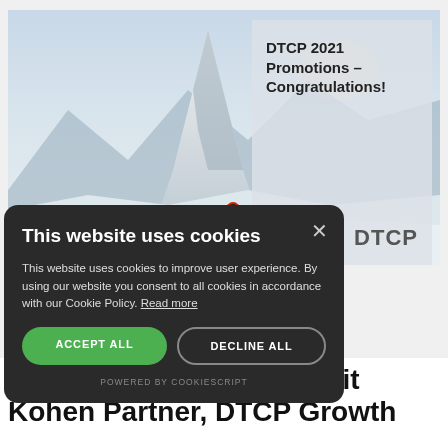[Figure (photo): Mountain landscape photo (Matterhorn) with a person in a red jacket standing in the snow, with a semi-transparent overlay box showing DTCP 2021 Promotions - Congratulations! and the DTCP logo]
promotions and names Irit Kohen Partner, DTCP Growth
This website uses cookies
This website uses cookies to improve user experience. By using our website you consent to all cookies in accordance with our Cookie Policy. Read more
ACCEPT ALL
DECLINE ALL
POWERED BY COOKIESCRIPT